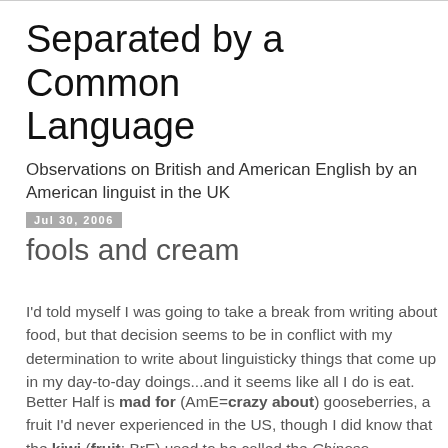Separated by a Common Language
Observations on British and American English by an American linguist in the UK
Jul 30, 2006
fools and cream
I'd told myself I was going to take a break from writing about food, but that decision seems to be in conflict with my determination to write about linguisticky things that come up in my day-to-day doings...and it seems like all I do is eat.
Better Half is mad for (AmE=crazy about) gooseberries, a fruit I'd never experienced in the US, though I did know that the kiwi (fruit; BrE) used to be called the Chinese gooseberry. Anyhow, this is the label on the punnet (BrE*)